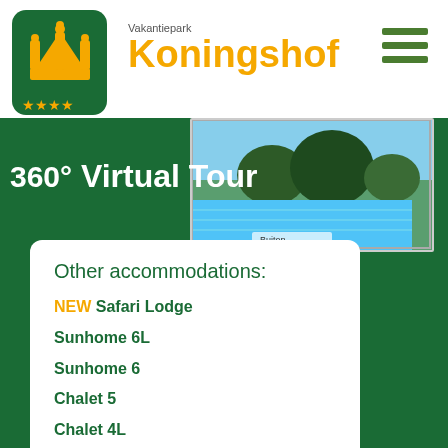[Figure (logo): Koningshof vakantiepark logo: green rounded square with orange crown and four stars]
Vakantiepark
Koningshof
[Figure (other): Hamburger menu icon with three green horizontal bars]
[Figure (screenshot): 360° Virtual Tour banner with outdoor swimming pool photo preview on green background]
Other accommodations:
NEW Safari Lodge
Sunhome 6L
Sunhome 6
Chalet 5
Chalet 4L
Naturhome 4
Sunhome M4M